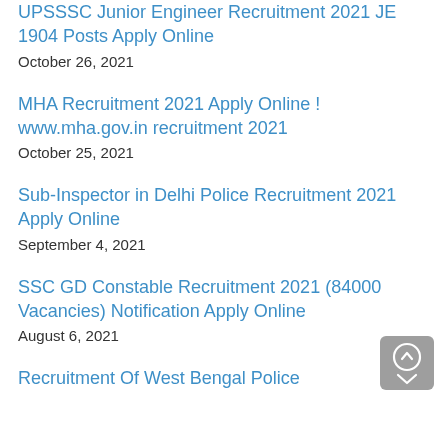UPSSSC Junior Engineer Recruitment 2021 JE 1904 Posts Apply Online
October 26, 2021
MHA Recruitment 2021 Apply Online ! www.mha.gov.in recruitment 2021
October 25, 2021
Sub-Inspector in Delhi Police Recruitment 2021 Apply Online
September 4, 2021
SSC GD Constable Recruitment 2021 (84000 Vacancies) Notification Apply Online
August 6, 2021
Recruitment Of West Bengal Police